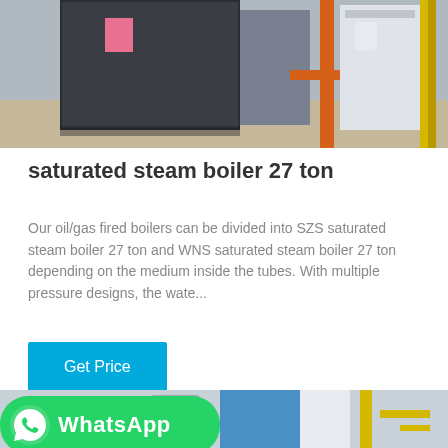[Figure (photo): Industrial boilers in a facility room, including a dark modern boiler unit and orange-piped equipment in background]
saturated steam boiler 27 ton
Our oil/gas fired boilers can be divided into SZS saturated steam boiler 27 ton and WNS saturated steam boiler 27 ton depending on the medium inside the tubes. With multiple pressure designs, the wate...
Get Price
[Figure (photo): Industrial boilers and yellow gas piping in a facility, partially overlaid with WhatsApp banner]
[Figure (logo): WhatsApp logo banner: green rounded rectangle with WhatsApp icon and text 'WhatsApp']